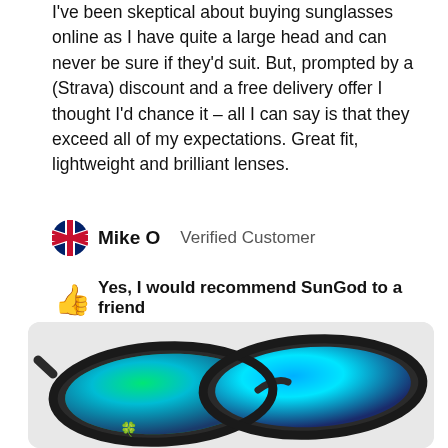I've been skeptical about buying sunglasses online as I have quite a large head and can never be sure if they'd suit. But, prompted by a (Strava) discount and a free delivery offer I thought I'd chance it – all I can say is that they exceed all of my expectations. Great fit, lightweight and brilliant lenses.
Mike O   Verified Customer
Yes, I would recommend SunGod to a friend
[Figure (photo): Photo of SunGod sunglasses with dark tortoise shell frame and green mirrored lenses on a light grey background]